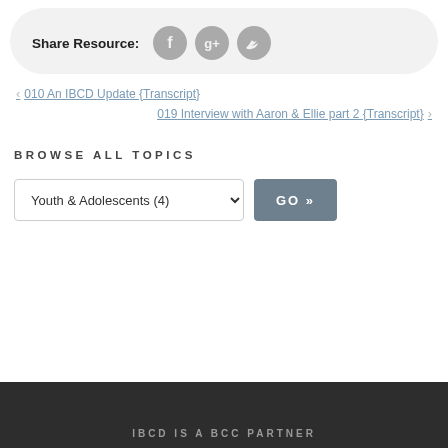Share Resource:
[Figure (infographic): Social sharing icons: Facebook (f), Google+ (g+), Twitter (bird) — circular grey buttons]
< 010 An IBCD Update {Transcript}
019 Interview with Aaron & Ellie part 2 {Transcript} >
BROWSE ALL TOPICS
Youth & Adolescents (4)  GO »
IBCD IS A BCC PARTNER